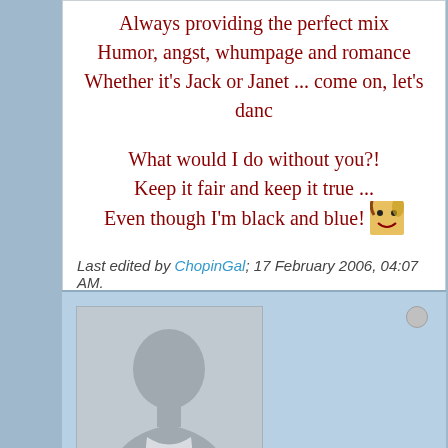Always providing the perfect mix
Humor, angst, whumpage and romance
Whether it's Jack or Janet ... come on, let's danc...
What would I do without you?!
Keep it fair and keep it true ...
Even though I'm black and blue!
Last edited by ChopinGal; 17 February 2006, 04:07 AM.
Deejay435
Captain
Member Since: Sep 2005   Posts: 1814